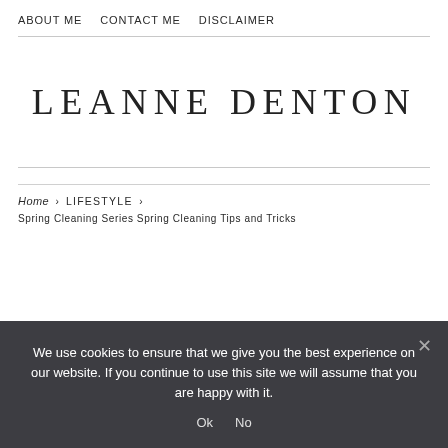ABOUT ME   CONTACT ME   DISCLAIMER
LEANNE DENTON
Home › LIFESTYLE ›
Spring Cleaning Series Spring Cleaning Tips and Tricks
We use cookies to ensure that we give you the best experience on our website. If you continue to use this site we will assume that you are happy with it.
Ok   No